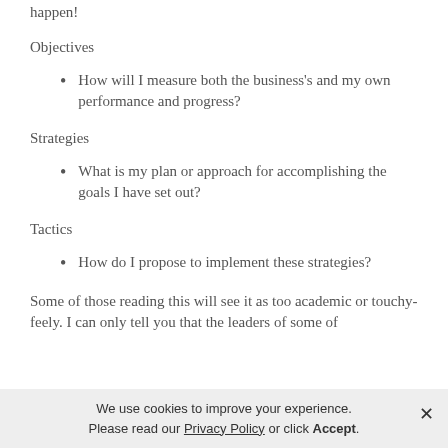happen!
Objectives
How will I measure both the business's and my own performance and progress?
Strategies
What is my plan or approach for accomplishing the goals I have set out?
Tactics
How do I propose to implement these strategies?
Some of those reading this will see it as too academic or touchy-feely. I can only tell you that the leaders of some of
We use cookies to improve your experience. Please read our Privacy Policy or click Accept.